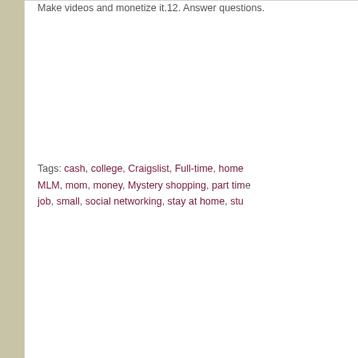Make videos and monetize it.12. Answer questions.
Tags: cash, college, Craigslist, Full-time, home, MLM, mom, money, Mystery shopping, part time job, small, social networking, stay at home, stu...
Tell us what you're thinking...